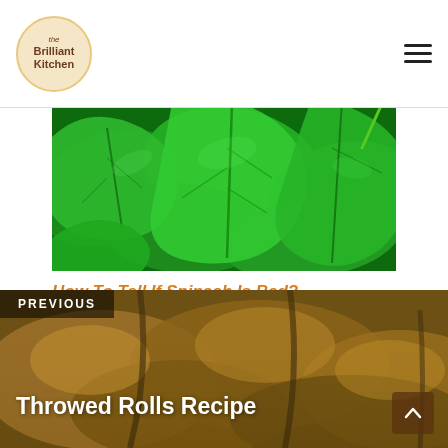Brilliant Kitchen
[Figure (photo): Close-up photograph of fresh dark green spinach leaves]
How To Tell If Spinach Is Bad?
PREVIOUS
Throwed Rolls Recipe
[Figure (photo): Background photo of golden baked bread rolls]